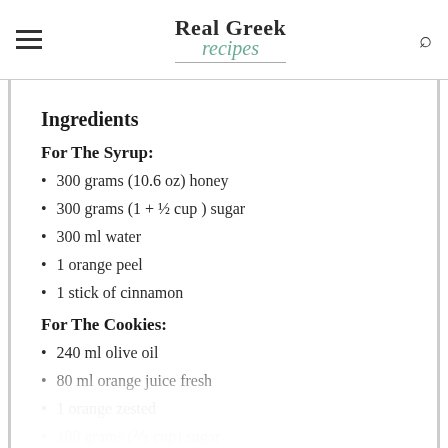Real Greek recipes
Ingredients
For The Syrup:
300 grams (10.6 oz) honey
300 grams (1 + ½ cup ) sugar
300 ml water
1 orange peel
1 stick of cinnamon
For The Cookies:
240 ml olive oil
80 ml orange juice fresh
1 orange zested
100 grams (⅔ cup) sugar